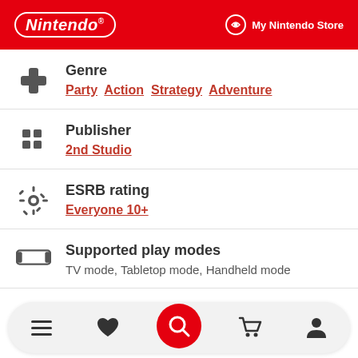Nintendo | My Nintendo Store
Genre: Party, Action, Strategy, Adventure
Publisher: 2nd Studio
ESRB rating: Everyone 10+
Supported play modes: TV mode, Tabletop mode, Handheld mode